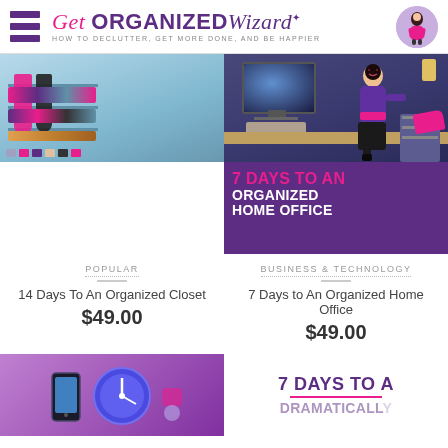Get Organized Wizard — HOW TO DECLUTTER, GET MORE DONE, AND BE HAPPIER
[Figure (illustration): Book cover: 14 Days To An Organized Closet — Clear Closet Clutter Fast. Purple cover with cartoon woman in closet.]
POPULAR
14 Days To An Organized Closet
$49.00
[Figure (illustration): Book cover: 7 Days to An Organized Home Office. Purple cover with cartoon woman at desk with computer.]
BUSINESS & TECHNOLOGY
7 Days to An Organized Home Office
$49.00
[Figure (illustration): Partial book cover bottom row left: purple background with phone and clock icons.]
[Figure (illustration): Partial book cover bottom row right: 7 Days To A Dramatically... purple text on white background.]